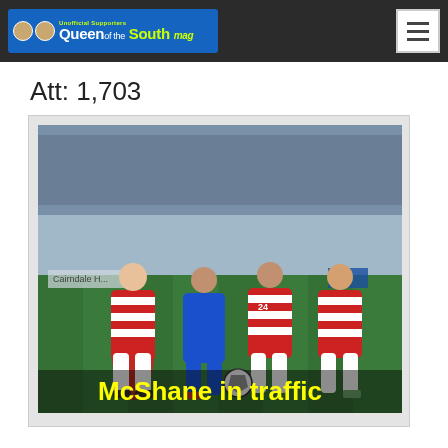Queen of the South
Att: 1,703
[Figure (photo): Football match photo showing a Queen of the South player in blue kit surrounded by Hamilton Academical players in red and white hooped kits, with yellow text overlay reading 'McShane in traffic']